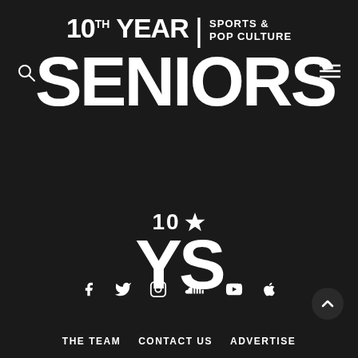10TH YEAR | SPORTS & POP CULTURE SENIORS
[Figure (logo): 10 star YS logo mark in white on dark background]
f  Twitter  Instagram  SoundCloud  YouTube  Apple
THE TEAM  CONTACT US  ADVERTISE